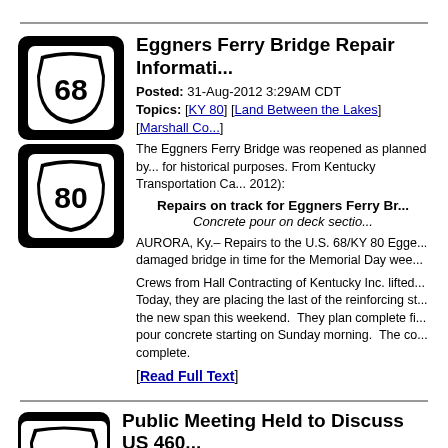[Figure (illustration): US Route 68 highway shield sign (black rounded square with white shield showing number 68)]
[Figure (illustration): KY Route 80 highway shield sign (black rounded square with white shield showing number 80)]
Eggners Ferry Bridge Repair Informati...
Posted: 31-Aug-2012 3:29AM CDT
Topics: [KY 80] [Land Between the Lakes] [Marshall Co...
The Eggners Ferry Bridge was reopened as planned by... for historical purposes. From Kentucky Transportation Ca... 2012):
Repairs on track for Eggners Ferry Br...
Concrete pour on deck sectio...
AURORA, Ky.– Repairs to the U.S. 68/KY 80 Egge... damaged bridge in time for the Memorial Day wee...
Crews from Hall Contracting of Kentucky Inc. lifted... Today, they are placing the last of the reinforcing st... the new span this weekend. They plan complete fi... pour concrete starting on Sunday morning. The co... complete.
[Read Full Text]
Public Meeting Held to Discuss US 460...